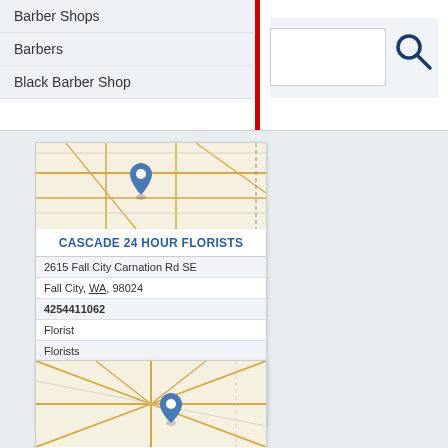Barber Shops
Barbers
Black Barber Shop
[Figure (map): Street map with blue location pin marker for Cascade 24 Hour Florists]
CASCADE 24 HOUR FLORISTS
2615 Fall City Carnation Rd SE
Fall City, WA, 98024
4254411062
Florist
Florists
Flower Shop
Flower Shops
Flowers
[Figure (map): Street map with blue location pin marker for Country Casuals]
COUNTRY CASUALS